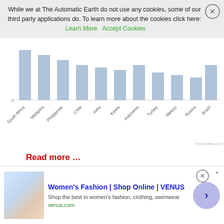While we at The Automatic Earth do not use any cookies, some of our third party applications do. To learn more about the cookies click here: Learn More  Accept Cookies
[Figure (bar-chart): Partial bar chart showing countries along x-axis: South Africa, Malaysia, Philippines, Chile, India, Korea, Indonesia, Turkey, Mexico, Russia, Brazil, China]
Read more …
More BIS.
• 'Gathering Storm' For Global Economy As Markets Lose Faith (AFP)
A fragile calm in global financial markets has given way to all-out turbulence, the Bank of International Settlements has said, warning of a "gathering storm" which has long been brewing. In its latest
[Figure (screenshot): Advertisement: Women's Fashion | Shop Online | VENUS. Shop the best in women's fashion, clothing, swimwear. venus.com]